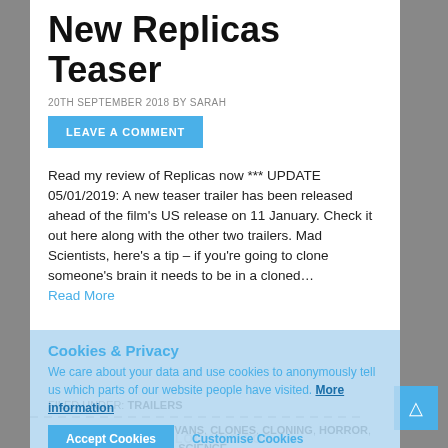New Replicas Teaser
20TH SEPTEMBER 2018 BY SARAH
LEAVE A COMMENT
Read my review of Replicas now *** UPDATE 05/01/2019: A new teaser trailer has been released ahead of the film's US release on 11 January. Check it out here along with the other two trailers. Mad Scientists, here's a tip – if you're going to clone someone's brain it needs to be in a cloned…
Read More
FILED UNDER: TRAILERS
TAGGED WITH: ALICE EVANS, CLONES, CLONING, HORROR, KEANU REEVES, SCI FI, SCIENCE
Cookies & Privacy We care about your data and use cookies to anonymously tell us which parts of our website people have visited. More information
LOOKING FOR